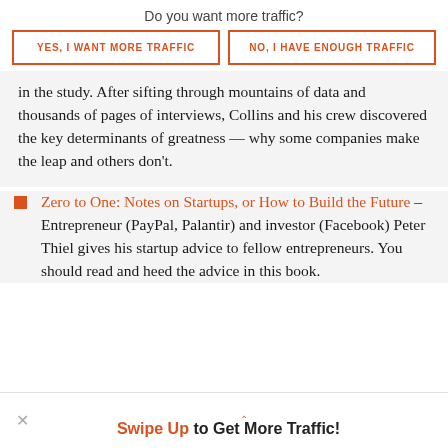Do you want more traffic?
YES, I WANT MORE TRAFFIC
NO, I HAVE ENOUGH TRAFFIC
in the study. After sifting through mountains of data and thousands of pages of interviews, Collins and his crew discovered the key determinants of greatness — why some companies make the leap and others don't.
Zero to One: Notes on Startups, or How to Build the Future – Entrepreneur (PayPal, Palantir) and investor (Facebook) Peter Thiel gives his startup advice to fellow entrepreneurs. You should read and heed the advice in this book.
Swipe Up to Get More Traffic!